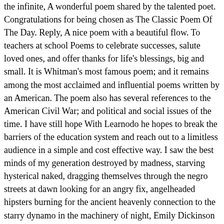the infinite, A wonderful poem shared by the talented poet. Congratulations for being chosen as The Classic Poem Of The Day. Reply, A nice poem with a beautiful flow. To teachers at school Poems to celebrate successes, salute loved ones, and offer thanks for life's blessings, big and small. It is Whitman's most famous poem; and it remains among the most acclaimed and influential poems written by an American. The poem also has several references to the American Civil War; and political and social issues of the time. I have still hope With Learnodo he hopes to break the barriers of the education system and reach out to a limitless audience in a simple and cost effective way. I saw the best minds of my generation destroyed by madness, starving hysterical naked, dragging themselves through the negro streets at dawn looking for an angry fix, angelheaded hipsters burning for the ancient heavenly connection to the starry dynamo in the machinery of night, Emily Dickinson is considered among the greatest poets in English literature. The